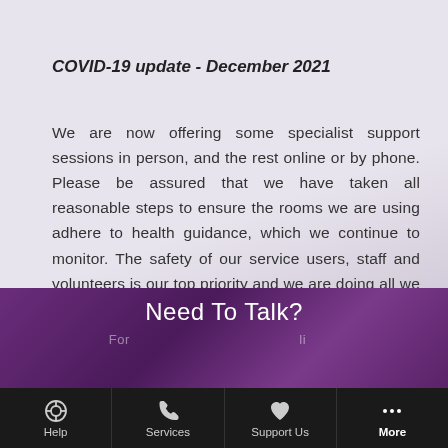COVID-19 update - December 2021
We are now offering some specialist support sessions in person, and the rest online or by phone. Please be assured that we have taken all reasonable steps to ensure the rooms we are using adhere to health guidance, which we continue to monitor. The safety of our service users, staff and volunteers is our top priority and we are doing all we can to continue providing services to all.
Need To Talk?
Help | Services | Support Us | More